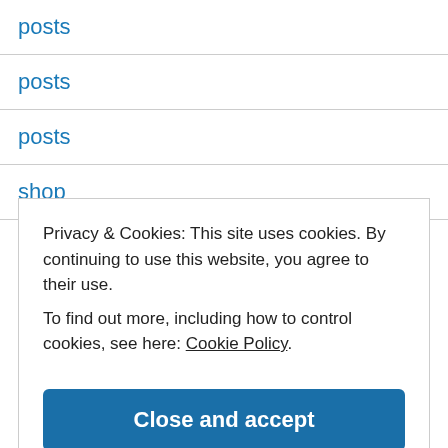posts
posts
posts
shop
Shop
Privacy & Cookies: This site uses cookies. By continuing to use this website, you agree to their use.
To find out more, including how to control cookies, see here: Cookie Policy
Close and accept
stylized nature